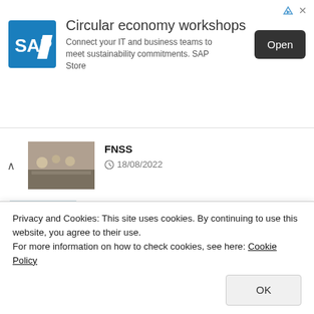[Figure (infographic): SAP advertisement banner: Circular economy workshops. SAP logo on blue background, text 'Connect your IT and business teams to meet sustainability commitments. SAP Store', and an 'Open' button.]
FNSS
18/08/2022
[Figure (photo): Photo of boats on water for the Coast Guard article]
164 Domestic and National Boats to the Coast Guard Command Kazanyelled
17/08/2022
[Figure (photo): Dark blue image for Technical Delegation article]
Technical Delegation of the Ministry of National Defence Wants to the UAV for T...
Privacy and Cookies: This site uses cookies. By continuing to use this website, you agree to their use.
For more information on how to check cookies, see here: Cookie Policy
OK